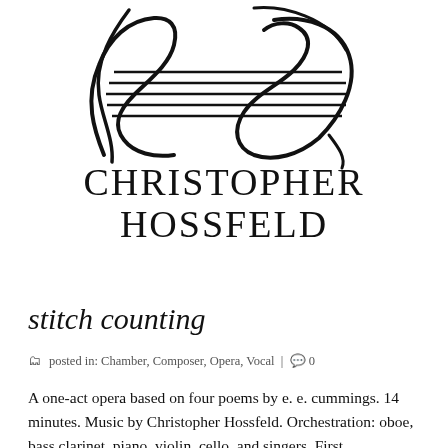[Figure (logo): Christopher Hossfeld logo: stylized calligraphic letters with horizontal staff lines through them, forming a music-themed monogram]
CHRISTOPHER HOSSFELD
stitch counting
posted in: Chamber, Composer, Opera, Vocal | 0
A one-act opera based on four poems by e. e. cummings. 14 minutes. Music by Christopher Hossfeld. Orchestration: oboe, bass clarinet, piano, violin, cello, and singers. First performance during VI, A Night of Student Opera Premieres, November 1993. Harvard